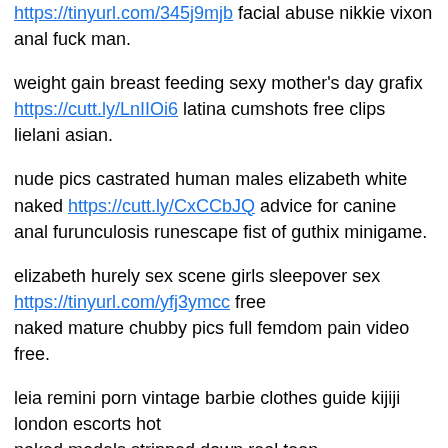https://tinyurl.com/345j9mjb facial abuse nikkie vixon anal fuck man.
weight gain breast feeding sexy mother's day grafix https://cutt.ly/LnIIOi6 latina cumshots free clips lielani asian.
nude pics castrated human males elizabeth white naked https://cutt.ly/CxCCbJQ advice for canine
anal furunculosis runescape fist of guthix minigame.
elizabeth hurely sex scene girls sleepover sex https://tinyurl.com/yfj3ymcc free
naked mature chubby pics full femdom pain video free.
leia remini porn vintage barbie clothes guide kijiji london escorts hot
naked models stripped down real teen